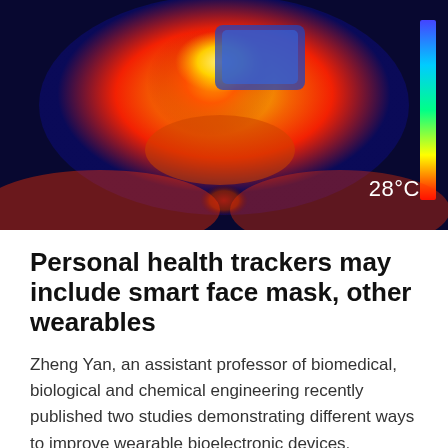[Figure (photo): Thermal infrared image of a person's head and neck showing heat distribution in colors from dark blue (cool) to red/yellow/green (warm). Temperature label '28°C' is shown in white text at the bottom right.]
Personal health trackers may include smart face mask, other wearables
Zheng Yan, an assistant professor of biomedical, biological and chemical engineering recently published two studies demonstrating different ways to improve wearable bioelectronic devices.
[Figure (photo): Close-up photograph of purple lavender flowers with blurred green and yellow background.]